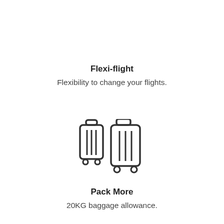Flexi-flight
Flexibility to change your flights.
[Figure (illustration): Two luggage/suitcase icons side by side — a smaller carry-on bag and a larger trolley suitcase, both drawn in outline style with vertical line details and wheels.]
Pack More
20KG baggage allowance.